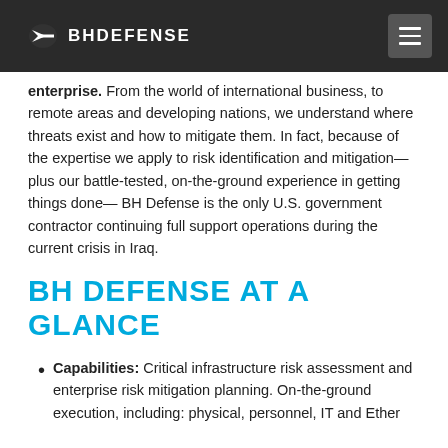BH DEFENSE
enterprise. From the world of international business, to remote areas and developing nations, we understand where threats exist and how to mitigate them. In fact, because of the expertise we apply to risk identification and mitigation—plus our battle-tested, on-the-ground experience in getting things done— BH Defense is the only U.S. government contractor continuing full support operations during the current crisis in Iraq.
BH DEFENSE AT A GLANCE
Capabilities: Critical infrastructure risk assessment and enterprise risk mitigation planning. On-the-ground execution, including: physical, personnel, IT and Ether